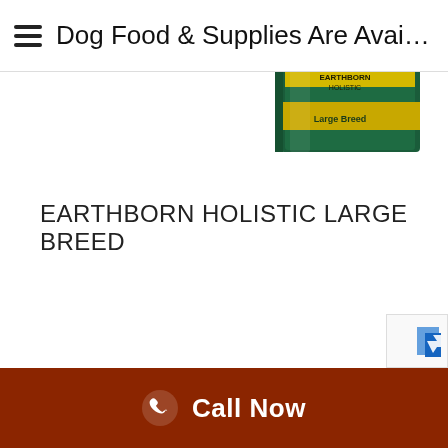Dog Food & Supplies Are Avai…
[Figure (photo): Partial view of Earthborn Holistic Large Breed dog food bag, showing green and yellow packaging, cropped at top of page]
EARTHBORN HOLISTIC LARGE BREED
[Figure (logo): reCAPTCHA badge partially visible in bottom-right corner]
Call Now